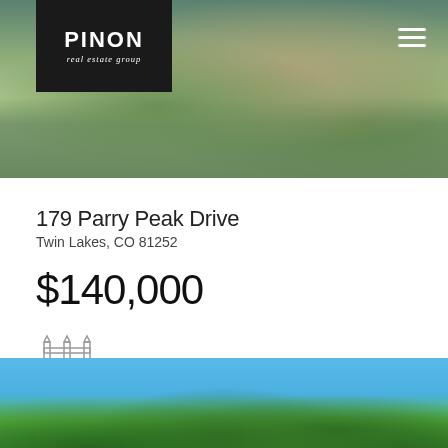[Figure (photo): Header photo of a garden/outdoor scene with plants and decorative elements. Dark logo box in top-left corner with PINON real estate group branding.]
179 Parry Peak Drive
Twin Lakes, CO 81252
$140,000
[Figure (illustration): Fence/land icon (two fence posts with horizontal rails)]
0.46
Acres
[Figure (photo): Bottom photo strip showing pine trees against a blue sky]